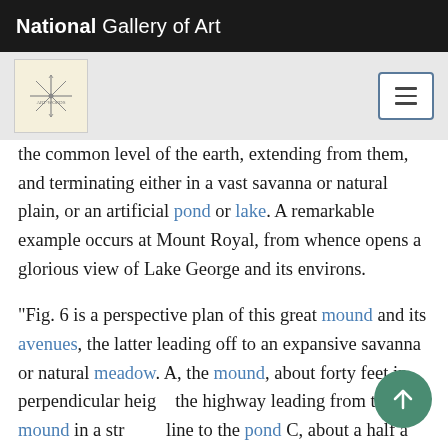National Gallery of Art
the common level of the earth, extending from them, and terminating either in a vast savanna or natural plain, or an artificial pond or lake. A remarkable example occurs at Mount Royal, from whence opens a glorious view of Lake George and its environs.
“Fig. 6 is a perspective plan of this great mound and its avenues, the latter leading off to an expansive savanna or natural meadow. A, the mound, about forty feet in perpendicular height the highway leading from the mound in a straight line to the pond C, about a half a mile distant. . . .